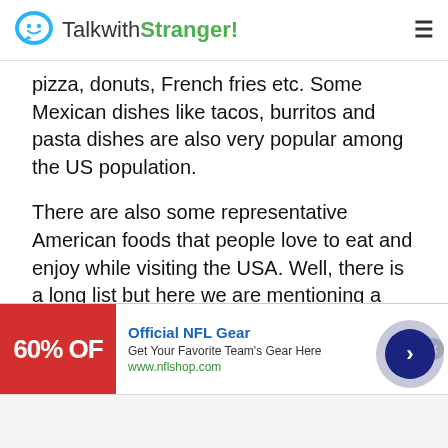TalkwithStranger!
pizza, donuts, French fries etc. Some Mexican dishes like tacos, burritos and pasta dishes are also very popular among the US population.
There are also some representative American foods that people love to eat and enjoy while visiting the USA. Well, there is a long list but here we are mentioning a few of the American foods.
Creole Jambalaya, Chicken Fried steak, Traditional Thanksgiving dinner with cranberry sauce, sweet potatoes, turkey dressing, California Club sandwicha
[Figure (screenshot): Advertisement banner for Official NFL Gear showing 60% OFF with red background image on left, text on right with title 'Official NFL Gear', subtitle 'Get Your Favorite Team's Gear Here', URL 'www.nflshop.com']